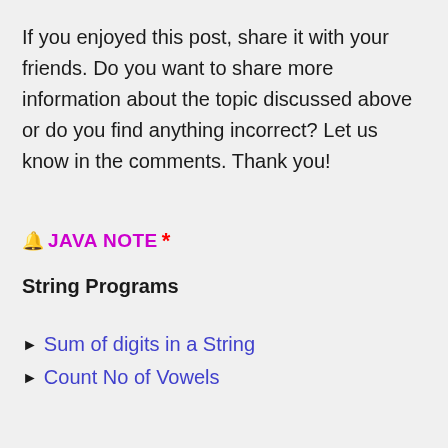If you enjoyed this post, share it with your friends. Do you want to share more information about the topic discussed above or do you find anything incorrect? Let us know in the comments. Thank you!
🔔 JAVA NOTE *
String Programs
Sum of digits in a String
Count No of Vowels in Stri…